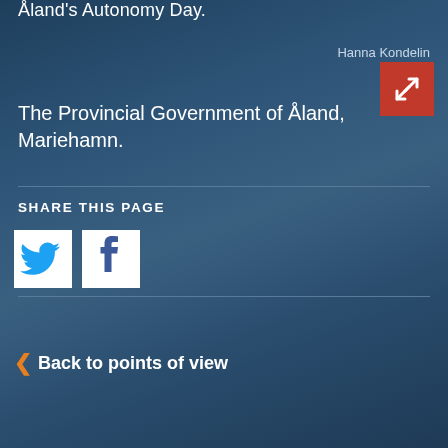Åland's Autonomy Day.
Hanna Kondelin
[Figure (illustration): Red expand/fullscreen button icon with white bidirectional diagonal arrows]
The Provincial Government of Åland, Mariehamn.
SHARE THIS PAGE
[Figure (logo): Twitter and Facebook social media share icons]
Back to points of view